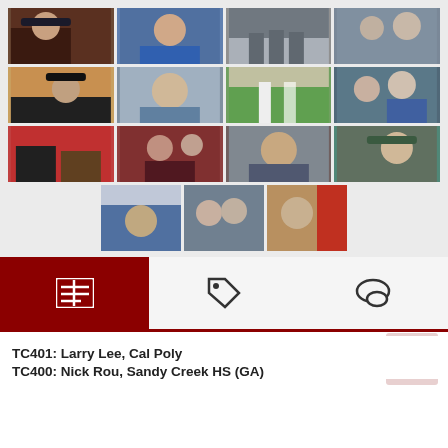[Figure (photo): Grid of 15 sports coaching photos arranged in 4 rows - first three rows have 4 photos each, last row has 3 centered photos. Photos show various baseball and sports coaches in action.]
[Figure (screenshot): Navigation tab bar with three tabs: an active dark red tab with newspaper/document icon, and two inactive tabs with a tag icon and speech bubble/comment icon respectively. Below is a back-to-top button.]
TC401: Larry Lee, Cal Poly
TC400: Nick Rou, Sandy Creek HS (GA)